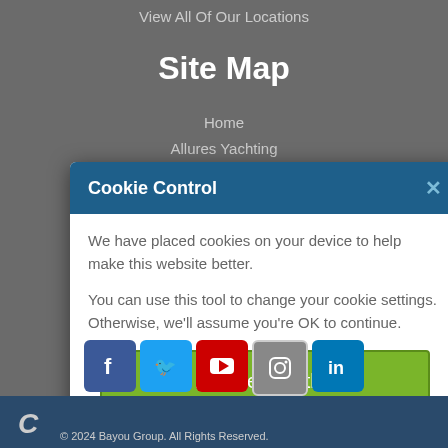View All Of Our Locations
Site Map
Home
Allures Yachting
[Figure (screenshot): Cookie Control modal dialog with blue header, white body text about cookies, green 'I'm fine with this' button, and footer links for Information and Settings and About our cookies]
[Figure (infographic): Social media icons row: Facebook (dark blue), Twitter (light blue), YouTube (red), Instagram (grey), LinkedIn (blue)]
© 2024 Bayou Group. All Rights Reserved.